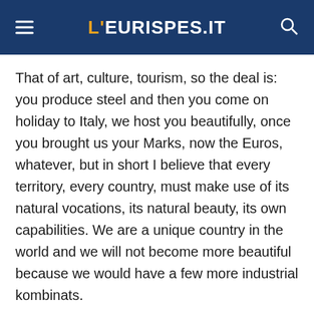L'EURISPES.IT
That of art, culture, tourism, so the deal is: you produce steel and then you come on holiday to Italy, we host you beautifully, once you brought us your Marks, now the Euros, whatever, but in short I believe that every territory, every country, must make use of its natural vocations, its natural beauty, its own capabilities. We are a unique country in the world and we will not become more beautiful because we would have a few more industrial kombinats.
The last question, Mr President. Italy at the heart of Europe, at the heart of America, Russia and China, to whom are we going to balance?